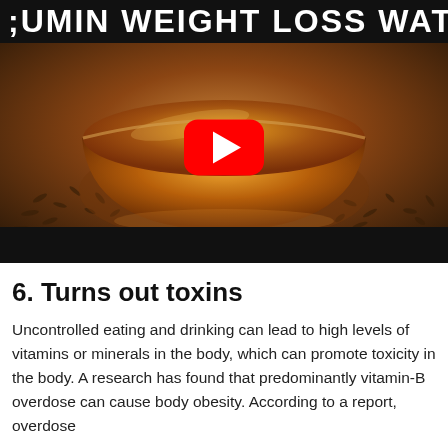CUMIN WEIGHT LOSS WATER
[Figure (photo): A glass bowl filled with golden-brown cumin (jeera) water/oil, surrounded by loose cumin seeds on a wooden surface. A YouTube play button overlay is centered on the image. A black bar appears at the bottom of the image frame.]
6. Turns out toxins
Uncontrolled eating and drinking can lead to high levels of vitamins or minerals in the body, which can promote toxicity in the body. A research has found that predominantly vitamin-B overdose can cause body obesity. According to a report, overdose